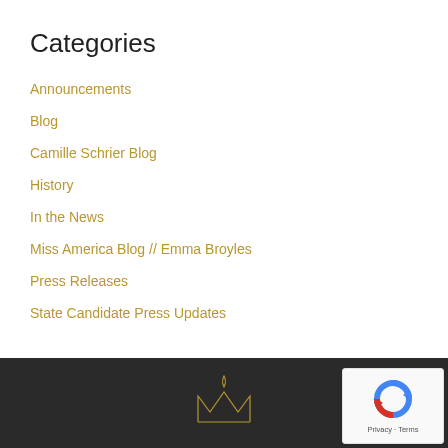Categories
Announcements
Blog
Camille Schrier Blog
History
In the News
Miss America Blog // Emma Broyles
Press Releases
State Candidate Press Updates
[Figure (logo): Crown/tiara line art logo in gold on dark footer background]
[Figure (other): Google reCAPTCHA badge with circular arrow icon and Privacy/Terms text]